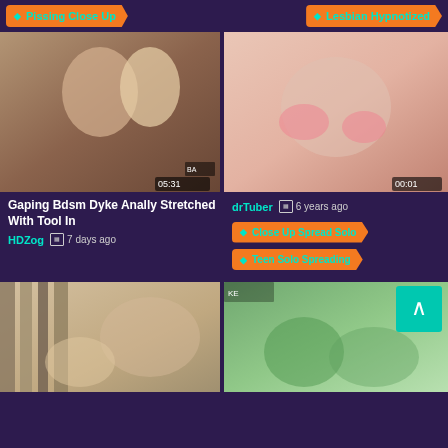Pissing Close Up
Lesbian Hypnotized
[Figure (photo): Video thumbnail left top row]
[Figure (photo): Video thumbnail right top row]
Gaping Bdsm Dyke Anally Stretched With Tool In
HDZog   7 days ago
drTuber   6 years ago
Close Up Spread Solo
Teen Solo Spreading
[Figure (photo): Video thumbnail bottom left]
[Figure (photo): Video thumbnail bottom right]